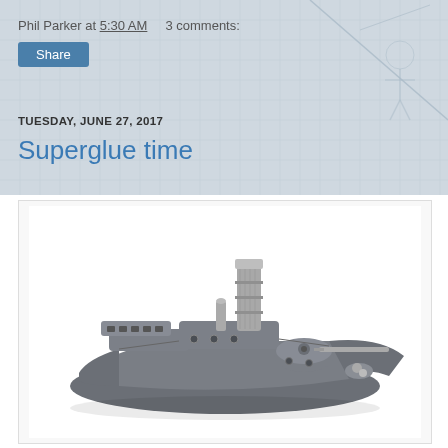Phil Parker at 5:30 AM    3 comments:
Share
TUESDAY, JUNE 27, 2017
Superglue time
[Figure (photo): A grey scale model of a small warship/gunboat with metal smokestack, gun turrets, and detailed hull fittings, photographed on a white background.]